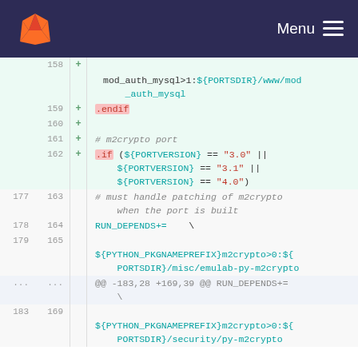[Figure (screenshot): GitLab navigation bar with fox logo and Menu button on dark navy background]
Code diff view showing lines 158-165, 169 with added lines (+) for mod_auth_mysql, .endif, m2crypto port comment, .if condition with PORTVERSION checks, RUN_DEPENDS+=, and ${PYTHON_PKGNAMEPREFIX}m2crypto references